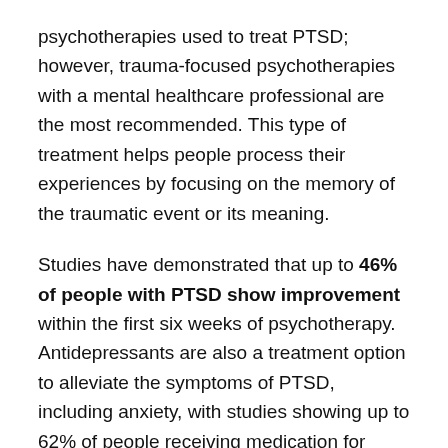psychotherapies used to treat PTSD; however, trauma-focused psychotherapies with a mental healthcare professional are the most recommended. This type of treatment helps people process their experiences by focusing on the memory of the traumatic event or its meaning.
Studies have demonstrated that up to 46% of people with PTSD show improvement within the first six weeks of psychotherapy. Antidepressants are also a treatment option to alleviate the symptoms of PTSD, including anxiety, with studies showing up to 62% of people receiving medication for PTSD show improvement. (American Family Physician, 2003)
.